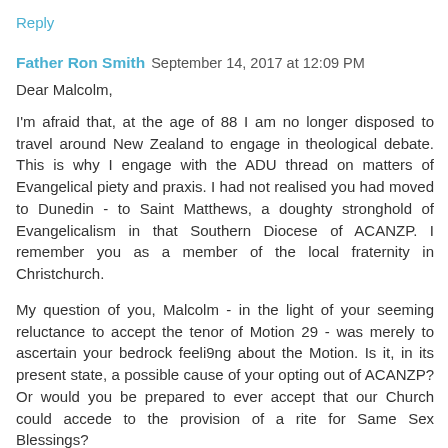Reply
Father Ron Smith  September 14, 2017 at 12:09 PM
Dear Malcolm,
I'm afraid that, at the age of 88 I am no longer disposed to travel around New Zealand to engage in theological debate. This is why I engage with the ADU thread on matters of Evangelical piety and praxis. I had not realised you had moved to Dunedin - to Saint Matthews, a doughty stronghold of Evangelicalism in that Southern Diocese of ACANZP. I remember you as a member of the local fraternity in Christchurch.
My question of you, Malcolm - in the light of your seeming reluctance to accept the tenor of Motion 29 - was merely to ascertain your bedrock feeli9ng about the Motion. Is it, in its present state, a possible cause of your opting out of ACANZP? Or would you be prepared to ever accept that our Church could accede to the provision of a rite for Same Sex Blessings?